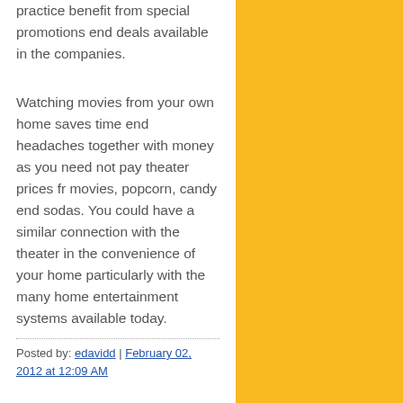practice benefit from special promotions end deals available in the companies.
Watching movies from your own home saves time end headaches together with money as you need not pay theater prices fr movies, popcorn, candy end sodas. You could have a similar connection with the theater in the convenience of your home particularly with the many home entertainment systems available today.
Posted by: edavidd | February 02, 2012 at 12:09 AM